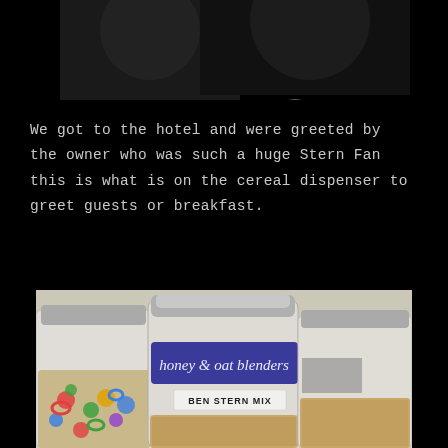[Figure (photo): Dark/black top portion with a partially visible photo of people in a dark setting]
We got to the hotel and were greeted by the owner who was such a huge Stern Fan this is what is on the cereal dispenser to greet guests or breakfast.
[Figure (photo): Photo of cereal dispensers on a counter. The center dispenser has a blue label reading 'honey & oat blenders' and a white label below reading 'BEN STERN MIX'. The left dispenser contains colorful cereal loops. The right dispenser contains oat/granola type cereal.]